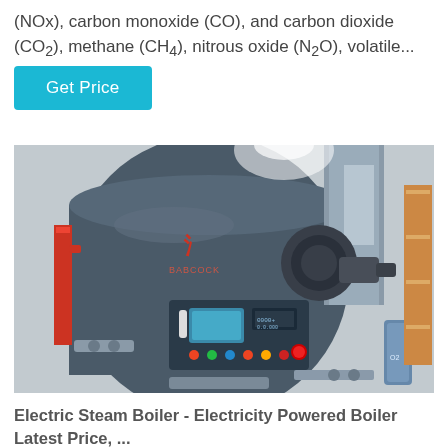(NOx), carbon monoxide (CO), and carbon dioxide (CO2), methane (CH4), nitrous oxide (N2O), volatile...
Get Price
[Figure (photo): Industrial electric steam boiler in a factory setting, showing a large cylindrical dark grey boiler with a red logo, a control panel with buttons and a display screen mounted on the front, various pipes and fittings, and surrounding industrial equipment.]
Electric Steam Boiler - Electricity Powered Boiler Latest Price, ...
Electric Steam Boiler, Electric Boiler, Electric Steam...